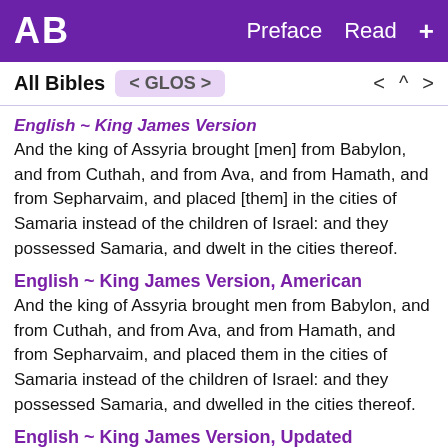AB   Preface  Read  +
All Bibles   < GLOS >     < ^ >
English ~ King James Version
And the king of Assyria brought [men] from Babylon, and from Cuthah, and from Ava, and from Hamath, and from Sepharvaim, and placed [them] in the cities of Samaria instead of the children of Israel: and they possessed Samaria, and dwelt in the cities thereof.
English ~ King James Version, American
And the king of Assyria brought men from Babylon, and from Cuthah, and from Ava, and from Hamath, and from Sepharvaim, and placed them in the cities of Samaria instead of the children of Israel: and they possessed Samaria, and dwelled in the cities thereof.
English ~ King James Version, Updated
And the king of Assyria brought men from Babylon,